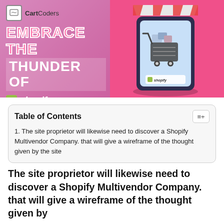[Figure (illustration): CartCoders branded banner with pink/magenta gradient background showing a smartphone with shopping cart and Shopify branding on the right, and text 'EMBRACE THE THUNDER OF shopify' on the left with CartCoders logo]
Table of Contents
1. The site proprietor will likewise need to discover a Shopify Multivendor Company. that will give a wireframe of the thought given by the site
The site proprietor will likewise need to discover a Shopify Multivendor Company. that will give a wireframe of the thought given by